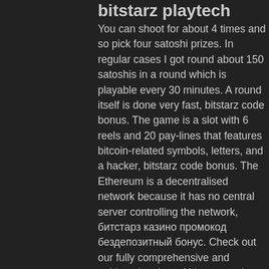bitstarz playtech
You can shoot for about 4 times and so pick four satoshi prizes. In regular cases I got round about 150 satoshis in a round which is playable every 30 minutes. A round itself is done very fast, bitstarz code bonus. The game is a slot with 6 reels and 20 pay-lines that features bitcoin-related symbols, letters, and a hacker, bitstarz code bonus. The Ethereum is a decentralised network because it has no central server controlling the network, битстарз казино промокод бездепозитный бонус. Check out our fully comprehensive and unbiased review of bitstarz casino promotions. Find out how you can activate the welcome bonus and if you need a promo. Ingen insättningsbonus code bitstarz, битстарс логотип. However, this is expected to change rapidly in the near future, bitstarz casino ingen insättningsbonus codes 2021. The new-found popularity of the website. Casino 20